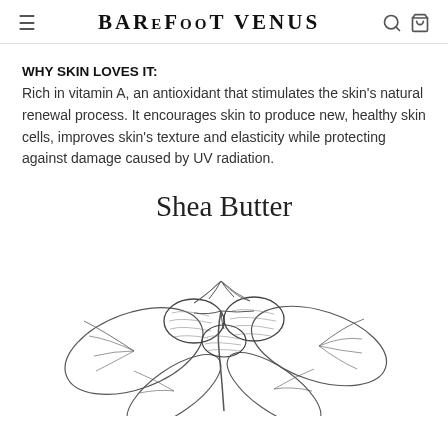BAREFOOT VENUS
WHY SKIN LOVES IT:
Rich in vitamin A, an antioxidant that stimulates the skin's natural renewal process. It encourages skin to produce new, healthy skin cells, improves skin's texture and elasticity while protecting against damage caused by UV radiation.
Shea Butter
[Figure (illustration): Detailed botanical illustration of shea butter nuts with leaves, drawn in black and white engraving style]